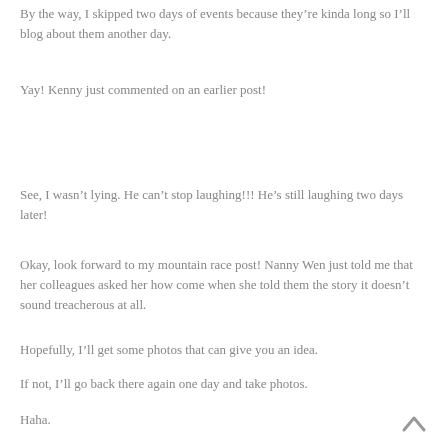By the way, I skipped two days of events because they're kinda long so I'll blog about them another day.
Yay! Kenny just commented on an earlier post!
See, I wasn't lying. He can't stop laughing!!! He's still laughing two days later!
Okay, look forward to my mountain race post! Nanny Wen just told me that her colleagues asked her how come when she told them the story it doesn't sound treacherous at all.
Hopefully, I'll get some photos that can give you an idea.
If not, I'll go back there again one day and take photos.
Haha.